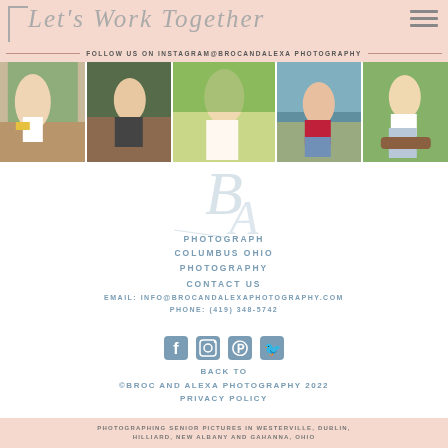Let's Work Together
FOLLOW US ON INSTAGRAM@BROCANDALEXA PHOTOGRAPHY
[Figure (photo): Five portrait photos of young women in outdoor settings arranged in a horizontal strip]
[Figure (logo): Broc and Alexa Photography stylized script monogram logo in light blue]
PHOTOGRAPHY
COLUMBUS OHIO
PHOTOGRAPHY
CONTACT US
EMAIL: INFO@BROCANDALEXAPHOTOGRAPHY.COM
PHONE: (419) 348-5742
[Figure (infographic): Social media icons: Facebook, Instagram, Pinterest, Twitter]
BACK TO TOP
©BROC AND ALEXA PHOTOGRAPHY 2022
PRIVACY POLICY
PHOTOGRAPHING SENIOR PICTURES IN WESTERVILLE, DUBLIN, HILLIARD, NEW ALBANY AND GAHANNA, OHIO